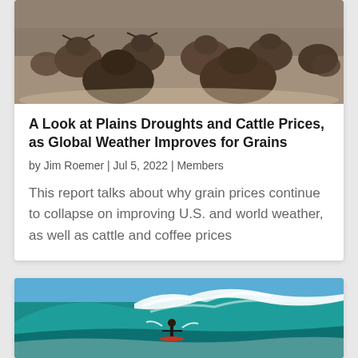[Figure (photo): Herd of cattle running toward camera in dusty field]
A Look at Plains Droughts and Cattle Prices, as Global Weather Improves for Grains
by Jim Roemer | Jul 5, 2022 | Members
This report talks about why grain prices continue to collapse on improving U.S. and world weather, as well as cattle and coffee prices
[Figure (photo): Person surfing a large turquoise ocean wave with white foam]